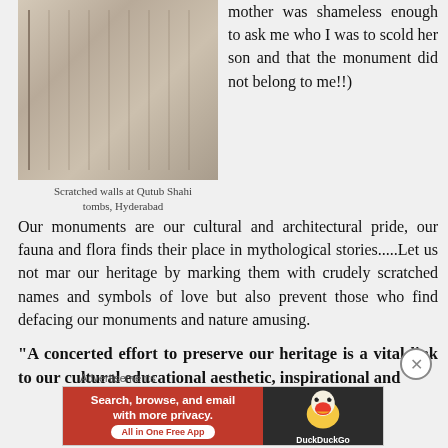[Figure (photo): Scratched stone walls at Qutub Shahi tombs, Hyderabad - close-up of carved/scratched marble or stone surface]
Scratched walls at Qutub Shahi tombs, Hyderabad
mother was shameless enough to ask me who I was to scold her son and that the monument did not belong to me!!)
Our monuments are our cultural and architectural pride, our fauna and flora finds their place in mythological stories.....Let us not mar our heritage by marking them with crudely scratched names and symbols of love but also prevent those who find defacing our monuments and nature amusing.
“A concerted effort to preserve our heritage is a vital link to our cultural educational aesthetic, inspirational and
Advertisements
[Figure (screenshot): DuckDuckGo advertisement banner: orange-red left panel saying 'Search, browse, and email with more privacy. All in One Free App' with white button, dark right panel with DuckDuckGo duck logo]